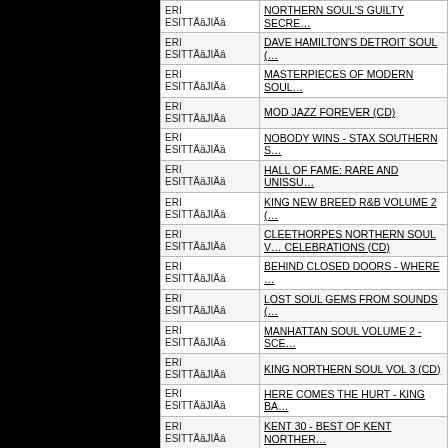| ESITTÄJÄ | Title |
| --- | --- |
| ERI ESITTÄJÄJÄ | NORTHERN SOUL'S GUILTY SECRE… |
| ERI ESITTÄJÄJÄ | DAVE HAMILTON'S DETROIT SOUL … |
| ERI ESITTÄJÄJÄ | MASTERPIECES OF MODERN SOUL… |
| ERI ESITTÄJÄJÄ | MOD JAZZ FOREVER (CD) |
| ERI ESITTÄJÄJÄ | NOBODY WINS - STAX SOUTHERN S… |
| ERI ESITTÄJÄJÄ | HALL OF FAME: RARE AND UNISSU… |
| ERI ESITTÄJÄJÄ | KING NEW BREED R&B VOLUME 2 (… |
| ERI ESITTÄJÄJÄ | CLEETHORPES NORTHERN SOUL V… CELEBRATIONS (CD) |
| ERI ESITTÄJÄJÄ | BEHIND CLOSED DOORS - WHERE … |
| ERI ESITTÄJÄJÄ | LOST SOUL GEMS FROM SOUNDS … |
| ERI ESITTÄJÄJÄ | MANHATTAN SOUL VOLUME 2 - SCE… |
| ERI ESITTÄJÄJÄ | KING NORTHERN SOUL VOL 3 (CD) |
| ERI ESITTÄJÄJÄ | HERE COMES THE HURT - KING BA… |
| ERI ESITTÄJÄJÄ | KENT 30 - BEST OF KENT NORTHER… |
| ERI ESITTÄJÄJÄ | HALL OF FAME VOLUME 2 (CD) |
| ERI ESITTÄJÄJÄ | PIED PIPER PRESENTS A NEW CON… |
| ERI ESITTÄJÄJÄ | SOUTH TEXAS - RHYTHMä…Nä… SC… |
| ERI ESITTÄJÄJÄ | NEW BREED BLUES WITH BLACK … |